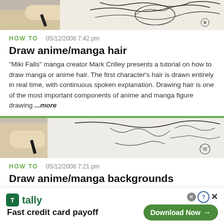[Figure (photo): Top portion of a video thumbnail showing hands drawing anime/manga art with a pen, partially cropped at the top of the page]
HOW TO   05/12/2008 7:42 pm
Draw anime/manga hair
"Miki Falls" manga creator Mark Crilley presents a tutorial on how to draw manga or anime hair. The first character's hair is drawn entirely in real time, with continuous spoken explanation. Drawing hair is one of the most important components of anime and manga figure drawing ...more
[Figure (photo): Video thumbnail showing hands drawing detailed anime/manga art with a pen on paper]
HOW TO   05/12/2008 7:21 pm
Draw anime/manga backgrounds
[Figure (other): Advertisement banner for Tally app - Fast credit card payoff, with Download Now button]